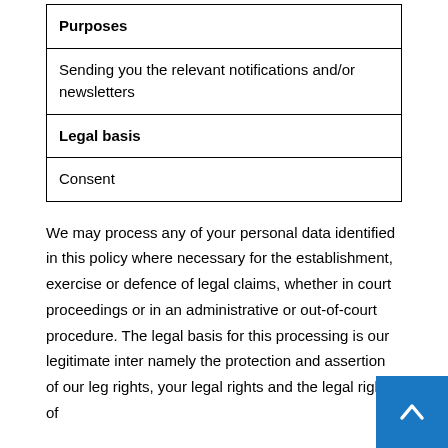| Purposes | Legal basis |
| --- | --- |
| Sending you the relevant notifications and/or newsletters | Consent |
We may process any of your personal data identified in this policy where necessary for the establishment, exercise or defence of legal claims, whether in court proceedings or in an administrative or out-of-court procedure. The legal basis for this processing is our legitimate interest, namely the protection and assertion of our legal rights, your legal rights and the legal rights of